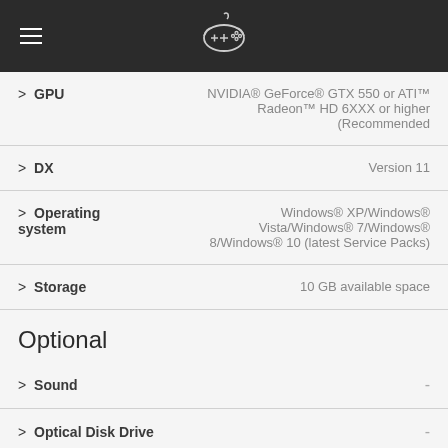≡  [game controller icon]
> GPU   NVIDIA® GeForce® GTX 550 or ATI™ Radeon™ HD 6XXX or higher (Recommended
> DX   Version 11
> Operating system   Windows® XP/Windows® Vista/Windows® 7/Windows® 8/Windows® 10 (latest Service Packs)
> Storage   10 GB available space
Optional
> Sound   -
> Optical Disk Drive   -
> Network connection   -